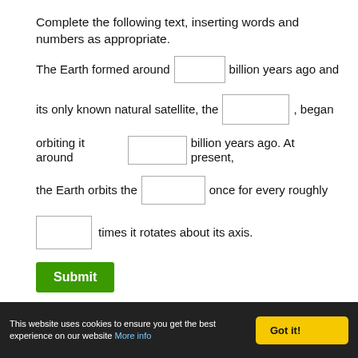Complete the following text, inserting words and numbers as appropriate.
The Earth formed around [blank] billion years ago and its only known natural satellite, the [blank], began orbiting it around [blank] billion years ago. At present, the Earth orbits the [blank] once for every roughly [blank] times it rotates about its axis.
Submit
This website uses cookies to ensure you get the best experience on our website More info
Got it!